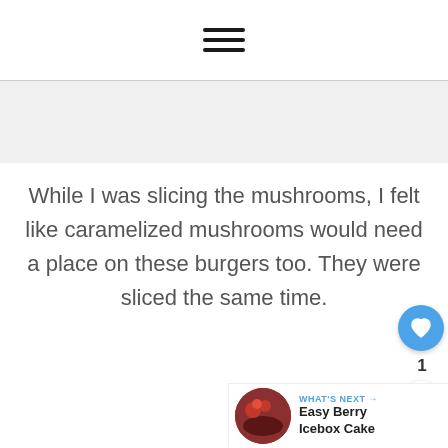☰ (hamburger menu icon)
[Figure (other): Gray advertisement banner placeholder]
While I was slicing the mushrooms, I felt like caramelized mushrooms would need a place on these burgers too. They were sliced the same time.
[Figure (other): WHAT'S NEXT → Easy Berry Icebox Cake thumbnail and label]